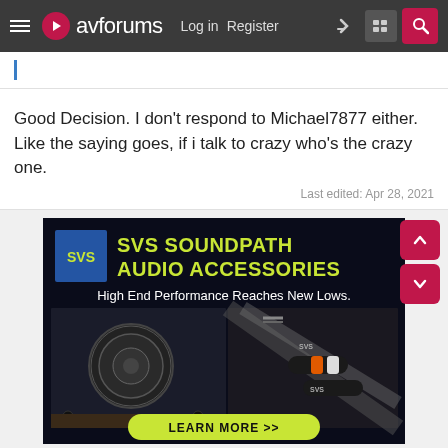avforums — Log in  Register
Good Decision. I don't respond to Michael7877 either. Like the saying goes, if i talk to crazy who's the crazy one.
Last edited: Apr 28, 2021
[Figure (infographic): SVS SoundPath Audio Accessories advertisement banner. Dark background with yellow/green bold text reading 'SVS SOUNDPATH AUDIO ACCESSORIES', subtitle 'High End Performance Reaches New Lows.' Images of a subwoofer and audio cables. Green pill-shaped button at bottom reading 'LEARN MORE >>']